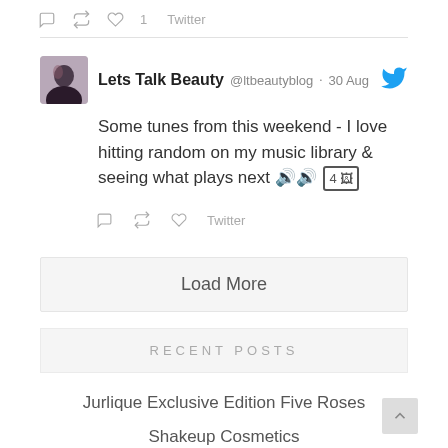♡ 1  Twitter
Lets Talk Beauty @ltbeautyblog · 30 Aug
Some tunes from this weekend - I love hitting random on my music library & seeing what plays next 🎵🎵 4 🖼
Twitter
Load More
RECENT POSTS
Jurlique Exclusive Edition Five Roses
Shakeup Cosmetics